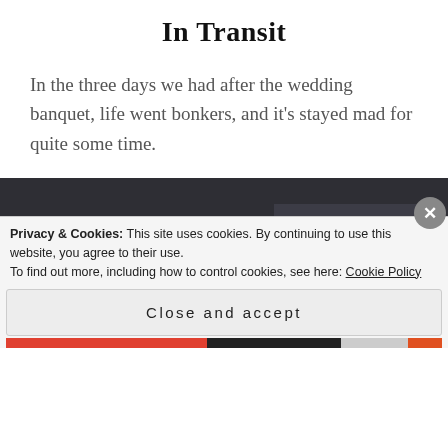In Transit
In the three days we had after the wedding banquet, life went bonkers, and it’s stayed mad for quite some time.
NEWER POSTS
A LITTLE BIT OF EVERYTHING
Privacy & Cookies: This site uses cookies. By continuing to use this website, you agree to their use.
To find out more, including how to control cookies, see here: Cookie Policy
Close and accept